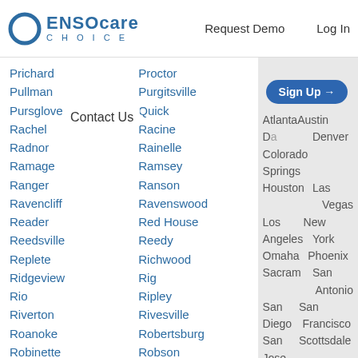ENSOCARE CHOICE | Request Demo | Log In
Prichard
Proctor
Pullman
Pursglove
Rachel
Radnor
Ramage
Ranger
Ravencliff
Reader
Reedsville
Replete
Ridgeview
Rio
Riverton
Roanoke
Robinette
Rock Cave
Rockport
Romney
Rosedale
Saint Albans
Salem
Purgitsville
Quick
Racine
Rainelle
Ramsey
Ranson
Ravenswood
Red House
Reedy
Richwood
Rig
Ripley
Rivesville
Robertsburg
Robson
Rock Creek
Romance
Ronceverte
Runa
Saint Marys
Salt Rock
Atlanta Austin Dallas Denver Colorado Springs Houston Las Vegas Los Angeles New York Omaha Phoenix Sacramento San Antonio San Diego San Francisco San Jose Scottsdale Seattle Tuscon